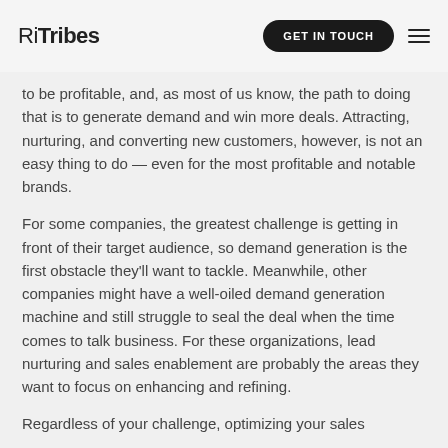RiTribes | GET IN TOUCH
to be profitable, and, as most of us know, the path to doing that is to generate demand and win more deals. Attracting, nurturing, and converting new customers, however, is not an easy thing to do — even for the most profitable and notable brands.
For some companies, the greatest challenge is getting in front of their target audience, so demand generation is the first obstacle they'll want to tackle. Meanwhile, other companies might have a well-oiled demand generation machine and still struggle to seal the deal when the time comes to talk business. For these organizations, lead nurturing and sales enablement are probably the areas they want to focus on enhancing and refining.
Regardless of your challenge, optimizing your sales